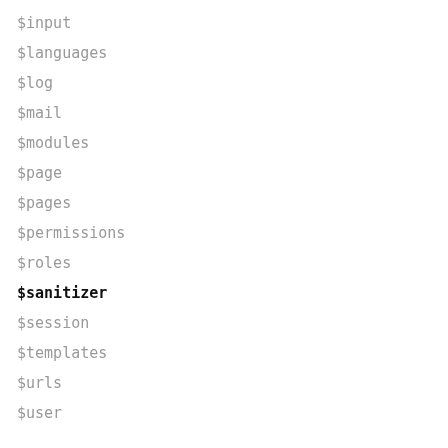$input
$languages
$log
$mail
$modules
$page
$pages
$permissions
$roles
$sanitizer
$session
$templates
$urls
$user